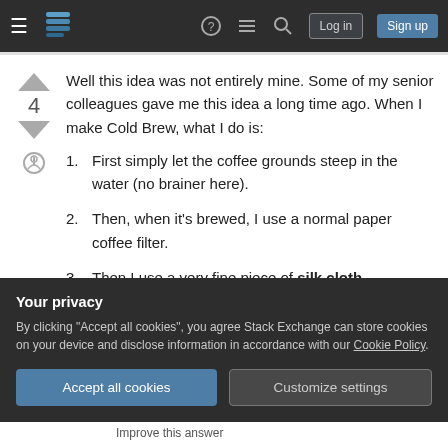Stack Exchange navigation bar with logo, help, chat, search, Log in, Sign up
Well this idea was not entirely mine. Some of my senior colleagues gave me this idea a long time ago. When I make Cold Brew, what I do is:
First simply let the coffee grounds steep in the water (no brainer here).
Then, when it's brewed, I use a normal paper coffee filter.
Then I use a very fine piece of silk cloth, thoroughly cleaned, as second filter (after a
Your privacy
By clicking "Accept all cookies", you agree Stack Exchange can store cookies on your device and disclose information in accordance with our Cookie Policy.
Accept all cookies  Customize settings
Improve this answer